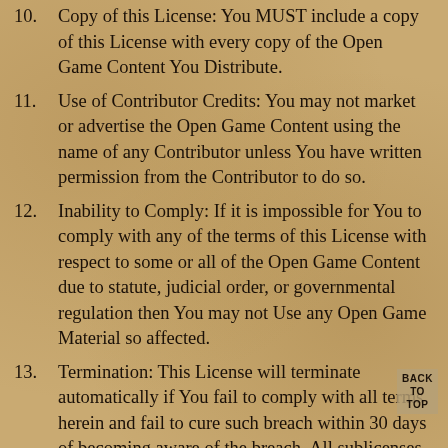10. Copy of this License: You MUST include a copy of this License with every copy of the Open Game Content You Distribute.
11. Use of Contributor Credits: You may not market or advertise the Open Game Content using the name of any Contributor unless You have written permission from the Contributor to do so.
12. Inability to Comply: If it is impossible for You to comply with any of the terms of this License with respect to some or all of the Open Game Content due to statute, judicial order, or governmental regulation then You may not Use any Open Game Material so affected.
13. Termination: This License will terminate automatically if You fail to comply with all terms herein and fail to cure such breach within 30 days of becoming aware of the breach. All sublicenses shall survive the termination of this License.